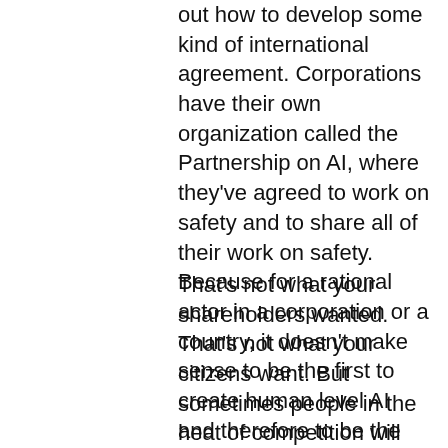out how to develop some kind of international agreement. Corporations have their own organization called the Partnership on AI, where they've agreed to work on safety and to share all of their work on safety. Because for a rational actor in a corporation or a country, it doesn't make sense to be the first to create human level AI and therefore to be the first to wipe out the human race.
That's not what your shareholders wanted. That's not what your citizens want. But sometimes people in the heat of competition will forget the risks and want to push ahead to get the benefits. But I think the fact is, and the evidence is already showing, that there are these real risks that have real downsides, and you won't get the benefits. So just as the nuclear industry, in the safety failures that Chernobyl and Fukushima ended